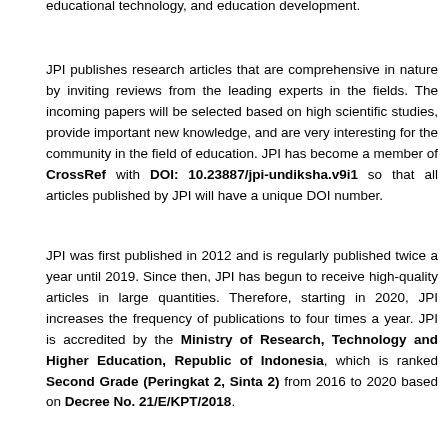educational technology, and education development.
JPI publishes research articles that are comprehensive in nature by inviting reviews from the leading experts in the fields. The incoming papers will be selected based on high scientific studies, provide important new knowledge, and are very interesting for the community in the field of education. JPI has become a member of CrossRef with DOI: 10.23887/jpi-undiksha.v9i1 so that all articles published by JPI will have a unique DOI number.
JPI was first published in 2012 and is regularly published twice a year until 2019. Since then, JPI has begun to receive high-quality articles in large quantities. Therefore, starting in 2020, JPI increases the frequency of publications to four times a year. JPI is accredited by the Ministry of Research, Technology and Higher Education, Republic of Indonesia, which is ranked Second Grade (Peringkat 2, Sinta 2) from 2016 to 2020 based on Decree No. 21/E/KPT/2018.